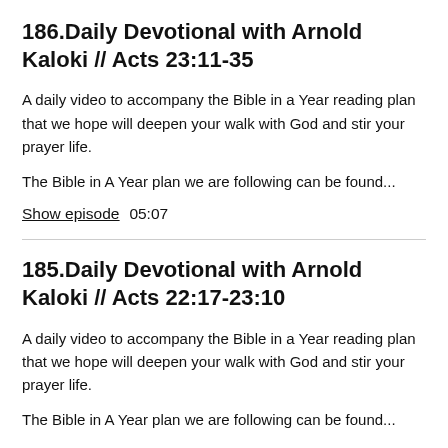186.Daily Devotional with Arnold Kaloki // Acts 23:11-35
A daily video to accompany the Bible in a Year reading plan that we hope will deepen your walk with God and stir your prayer life.
The Bible in A Year plan we are following can be found...
Show episode   05:07
185.Daily Devotional with Arnold Kaloki // Acts 22:17-23:10
A daily video to accompany the Bible in a Year reading plan that we hope will deepen your walk with God and stir your prayer life.
The Bible in A Year plan we are following can be found...